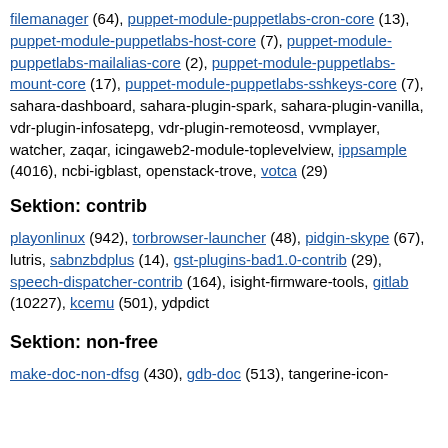filemanager (64), puppet-module-puppetlabs-cron-core (13), puppet-module-puppetlabs-host-core (7), puppet-module-puppetlabs-mailalias-core (2), puppet-module-puppetlabs-mount-core (17), puppet-module-puppetlabs-sshkeys-core (7), sahara-dashboard, sahara-plugin-spark, sahara-plugin-vanilla, vdr-plugin-infosatepg, vdr-plugin-remoteosd, vvmplayer, watcher, zaqar, icingaweb2-module-toplevelview, ippsample (4016), ncbi-igblast, openstack-trove, votca (29)
Sektion: contrib
playonlinux (942), torbrowser-launcher (48), pidgin-skype (67), lutris, sabnzbdplus (14), gst-plugins-bad1.0-contrib (29), speech-dispatcher-contrib (164), isight-firmware-tools, gitlab (10227), kcemu (501), ydpdict
Sektion: non-free
make-doc-non-dfsg (430), gdb-doc (513), tangerine-icon-